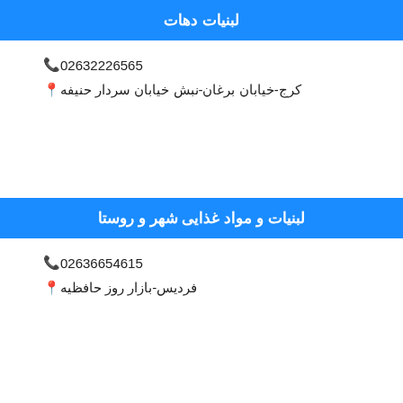لبنیات دهات
📞 02632226565
📍 کرج-خیابان برغان-نبش خیابان سردار حنیفه
لبنیات و مواد غذایی شهر و روستا
📞 02636654615
📍 فردیس-بازار روز حافظیه